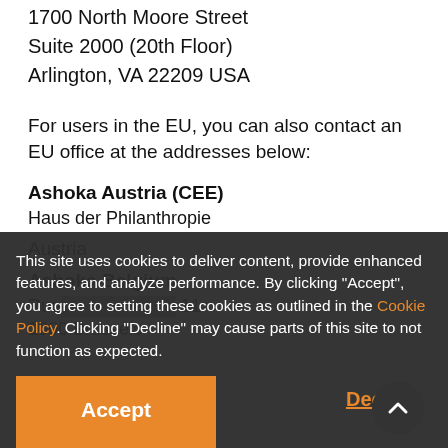c/o Global Web Team
1700 North Moore Street
Suite 2000 (20th Floor)
Arlington, VA 22209 USA
For users in the EU, you can also contact an EU office at the addresses below:
Ashoka Austria (CEE)
Haus der Philanthropie
Austria
Ashoka Belgium
Rue... 11
1000 Brussels
This site uses cookies to deliver content, provide enhanced features, and analyze performance. By clicking "Accept", you agree to setting these cookies as outlined in the Cookie Policy. Clicking "Decline" may cause parts of this site to not function as expected.
Accept
Decline